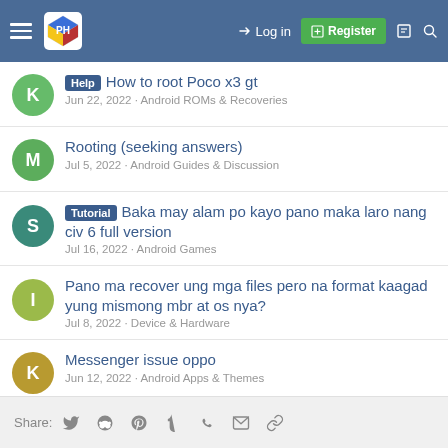Navigation header with hamburger menu, logo, Log in, Register, and search icons
[Help] How to root Poco x3 gt — Jun 22, 2022 · Android ROMs & Recoveries
Rooting (seeking answers) — Jul 5, 2022 · Android Guides & Discussion
[Tutorial] Baka may alam po kayo pano maka laro nang civ 6 full version — Jul 16, 2022 · Android Games
Pano ma recover ung mga files pero na format kaagad yung mismong mbr at os nya? — Jul 8, 2022 · Device & Hardware
Messenger issue oppo — Jun 12, 2022 · Android Apps & Themes
Share: Twitter Reddit Pinterest Tumblr WhatsApp Email Link